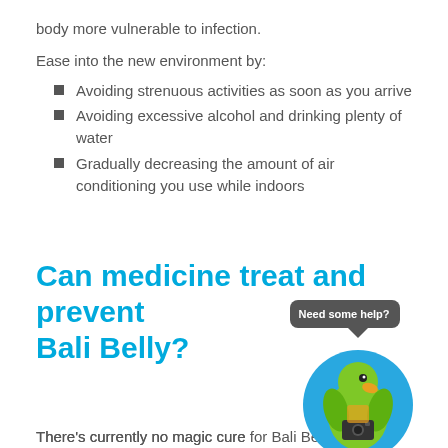body more vulnerable to infection.
Ease into the new environment by:
Avoiding strenuous activities as soon as you arrive
Avoiding excessive alcohol and drinking plenty of water
Gradually decreasing the amount of air conditioning you use while indoors
Can medicine treat and prevent Bali Belly?
[Figure (illustration): Green parrot mascot in a blue circle with 'Need some help?' speech bubble, holding a camera]
There's currently no magic cure for Bali Belly or any one proven to prevent it entirely, as it can be caused by several